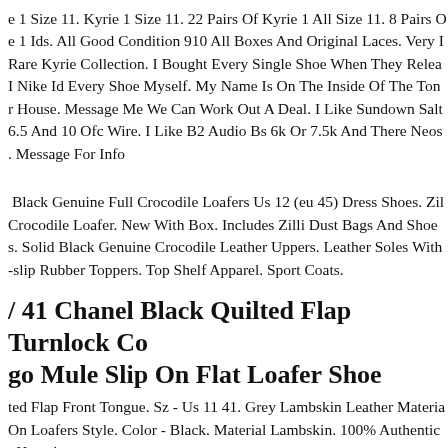e 1 Size 11. Kyrie 1 Size 11. 22 Pairs Of Kyrie 1 All Size 11. 8 Pairs O e 1 Ids. All Good Condition 910 All Boxes And Original Laces. Very I Rare Kyrie Collection. I Bought Every Single Shoe When They Relea I Nike Id Every Shoe Myself. My Name Is On The Inside Of The Ton r House. Message Me We Can Work Out A Deal. I Like Sundown Salt 6.5 And 10 Ofc Wire. I Like B2 Audio Bs 6k Or 7.5k And There Neos . Message For Info
Black Genuine Full Crocodile Loafers Us 12 (eu 45) Dress Shoes. Zil Crocodile Loafer. New With Box. Includes Zilli Dust Bags And Shoe s. Solid Black Genuine Crocodile Leather Uppers. Leather Soles With -slip Rubber Toppers. Top Shelf Apparel. Sport Coats.
/ 41 Chanel Black Quilted Flap Turnlock Co go Mule Slip On Flat Loafer Shoe
ted Flap Front Tongue. Sz - Us 11 41. Grey Lambskin Leather Materia On Loafers Style. Color - Black. Material Lambskin. 100% Authentic t Have !